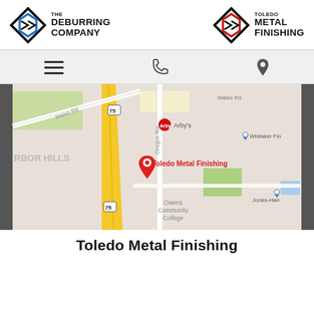[Figure (logo): The Deburring Company logo with diamond hexagon icon in blue and black]
[Figure (logo): Toledo Metal Finishing logo with diamond hexagon icon in red and black]
[Figure (screenshot): Google Maps screenshot showing location of Toledo Metal Finishing near Wales Rd and Oregon Rd, with red map pin marker, showing nearby landmarks: Arby's, Whitaker Finishing, Jones-Han, Owens Community College, harbor hills area, Interstate 75]
Toledo Metal Finishing